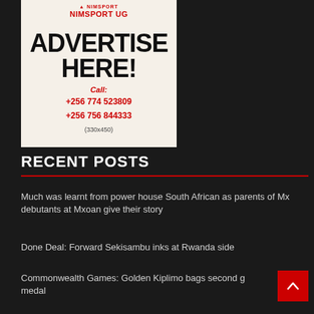[Figure (other): NIMSPORT UG advertisement banner with text 'ADVERTISE HERE!' and contact numbers +256 774 523809 and +256 756 844333, size (330x450)]
RECENT POSTS
Much was learnt from power house South African as parents of Mx debutants at Mxoan give their story
Done Deal: Forward Sekisambu inks at Rwanda side
Commonwealth Games: Golden Kiplimo bags second gold medal